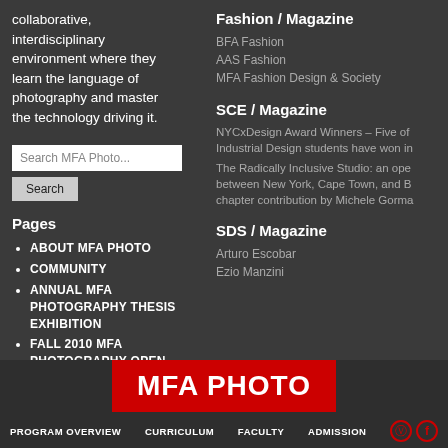collaborative, interdisciplinary environment where they learn the language of photography and master the technology driving it.
Pages
ABOUT MFA PHOTO
COMMUNITY
ANNUAL MFA PHOTOGRAPHY THESIS EXHIBITION
FALL 2010 MFA PHOTOGRAPHY OPEN STUDIO
Fashion / Magazine
BFA Fashion
AAS Fashion
MFA Fashion Design & Society
SCE / Magazine
NYCxDesign Award Winners – Five of Industrial Design students have won in
The Radically Inclusive Studio: an ope between New York, Cape Town, and B chapter contribution by Michele Gorma
SDS / Magazine
Arturo Escobar
Ezio Manzini
MFA PHOTO
PROGRAM OVERVIEW   CURRICULUM   FACULTY   ADMISSION